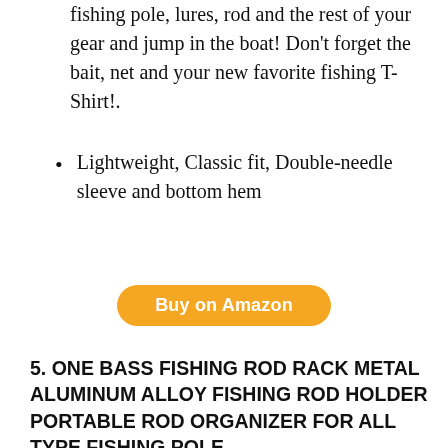fishing pole, lures, rod and the rest of your gear and jump in the boat! Don't forget the bait, net and your new favorite fishing T-Shirt!.
Lightweight, Classic fit, Double-needle sleeve and bottom hem
Buy on Amazon
5. ONE BASS FISHING ROD RACK METAL ALUMINUM ALLOY FISHING ROD HOLDER PORTABLE ROD ORGANIZER FOR ALL TYPE FISHING POLE
[Figure (photo): A collection of fishing rods and reels of various types standing upright together on a white background]